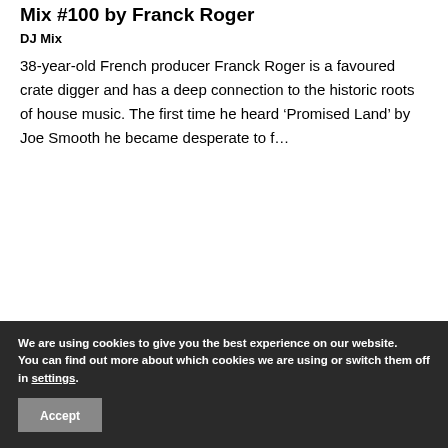Mix #100 by Franck Roger
DJ Mix
38-year-old French producer Franck Roger is a favoured crate digger and has a deep connection to the historic roots of house music. The first time he heard ‘Promised Land’ by Joe Smooth he became desperate to f…
[Figure (photo): Black image area with broken image indicator in top-left corner]
We are using cookies to give you the best experience on our website.
You can find out more about which cookies we are using or switch them off in settings.
Accept